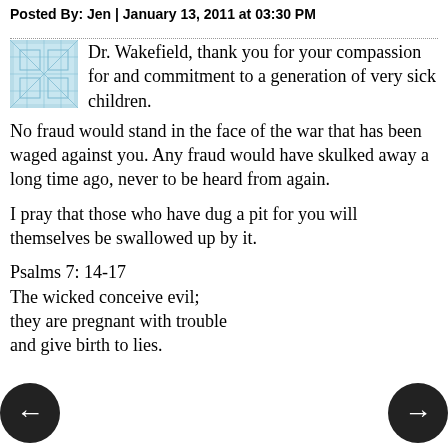Posted By: Jen | January 13, 2011 at 03:30 PM
Dr. Wakefield, thank you for your compassion for and commitment to a generation of very sick children.
No fraud would stand in the face of the war that has been waged against you. Any fraud would have skulked away a long time ago, never to be heard from again.
I pray that those who have dug a pit for you will themselves be swallowed up by it.
Psalms 7: 14-17
The wicked conceive evil;
they are pregnant with trouble
and give birth to lies.